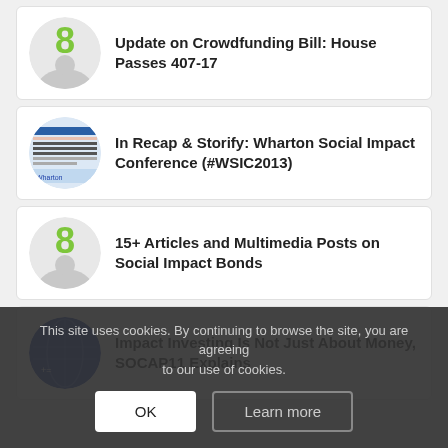Update on Crowdfunding Bill: House Passes 407-17
In Recap & Storify: Wharton Social Impact Conference (#WSIC2013)
15+ Articles and Multimedia Posts on Social Impact Bonds
Impact Investing Is Not Just About Money, SOCAP11 Explains
This site uses cookies. By continuing to browse the site, you are agreeing to our use of cookies.
OK
Learn more